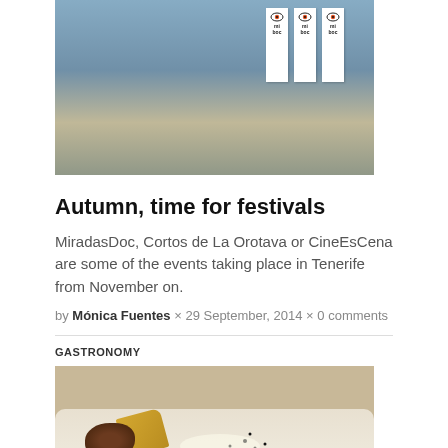[Figure (photo): Exterior of a building with festival banners displaying eye logos for MiradasDoc film festival]
Autumn, time for festivals
MiradasDoc, Cortos de La Orotava or CineEsCena are some of the events taking place in Tenerife from November on.
by Mónica Fuentes × 29 September, 2014 × 0 comments
GASTRONOMY
[Figure (photo): A gourmet food dish on a white plate featuring a dark chocolate dessert with pastry crisps and a cream sauce with black sesame seeds]